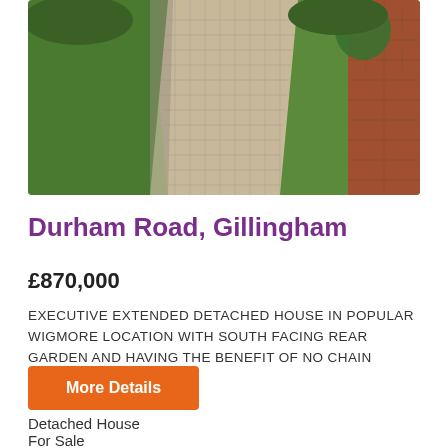[Figure (photo): Aerial view of a block-paved driveway with green hedges on the left and a brick wall with green shrub on the right, in a residential property setting.]
Durham Road, Gillingham
£870,000
EXECUTIVE EXTENDED DETACHED HOUSE IN POPULAR WIGMORE LOCATION WITH SOUTH FACING REAR GARDEN AND HAVING THE BENEFIT OF NO CHAIN
More Details
Detached House
For Sale